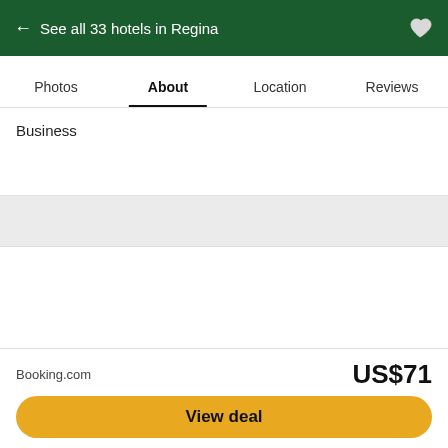← See all 33 hotels in Regina
Photos  About  Location  Reviews
Business
[Figure (screenshot): Gray divider band separator]
[Figure (photo): White content area placeholder (map or photo)]
Booking.com  US$71
View deal